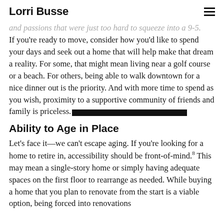Lorri Busse
and passions that were just too hard to squeeze into a 9-5. If you're ready to move, consider how you'd like to spend your days and seek out a home that will help make that dream a reality. For some, that might mean living near a golf course or a beach. For others, being able to walk downtown for a nice dinner out is the priority. And with more time to spend as you wish, proximity to a supportive community of friends and family is priceless.
Ability to Age in Place
Let's face it—we can't escape aging. If you're looking for a home to retire in, accessibility should be front-of-mind.8 This may mean a single-story home or simply having adequate spaces on the first floor to rearrange as needed. While buying a home that you plan to renovate from the start is a viable option, being forced into renovations